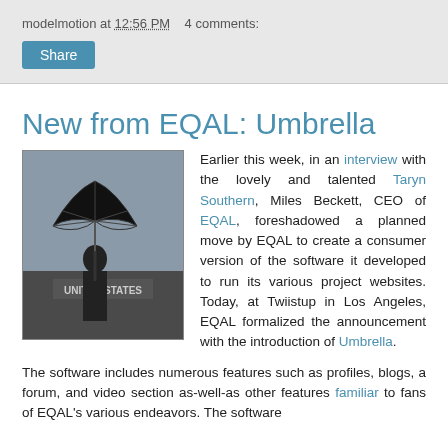modelmotion at 12:56 PM   4 comments:
Share
New from EQAL: Umbrella
[Figure (photo): Person holding an inside-out black umbrella in front of a plane with 'UNITED STATES' visible]
Earlier this week, in an interview with the lovely and talented Taryn Southern, Miles Beckett, CEO of EQAL, foreshadowed a planned move by EQAL to create a consumer version of the software it developed to run its various project websites. Today, at Twiistup in Los Angeles, EQAL formalized the announcement with the introduction of Umbrella.
The software includes numerous features such as profiles, blogs, a forum, and video section as-well-as other features familiar to fans of EQAL's various endeavors. The software